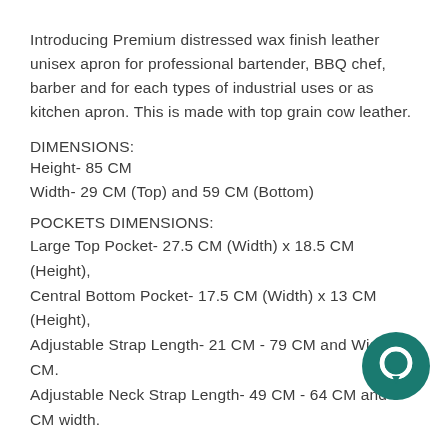Introducing Premium distressed wax finish leather unisex apron for professional bartender, BBQ chef, barber and for each types of industrial uses or as kitchen apron. This is made with top grain cow leather.
DIMENSIONS:
Height- 85 CM
Width- 29 CM (Top) and 59 CM (Bottom)
POCKETS DIMENSIONS:
Large Top Pocket- 27.5 CM (Width) x 18.5 CM (Height),
Central Bottom Pocket- 17.5 CM (Width) x 13 CM (Height),
Adjustable Strap Length- 21 CM - 79 CM and Width 3 CM.
Adjustable Neck Strap Length- 49 CM - 64 CM and 3 CM width.
FEATURES: This leather apron has 1 large spacious pocket for tools, 6 smaller front pockets for smaller tools or